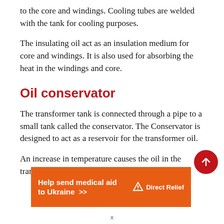to the core and windings. Cooling tubes are welded with the tank for cooling purposes.
The insulating oil act as an insulation medium for core and windings. It is also used for absorbing the heat in the windings and core.
Oil conservator
The transformer tank is connected through a pipe to a small tank called the conservator. The Conservator is designed to act as a reservoir for the transformer oil.
An increase in temperature causes the oil in the transformer
[Figure (infographic): Orange advertisement banner for Direct Relief: 'Help send medical aid to Ukraine >>' with Direct Relief logo on the right]